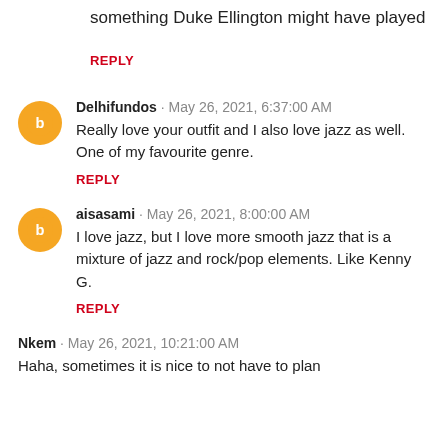something Duke Ellington might have played
REPLY
Delhifundos · May 26, 2021, 6:37:00 AM
Really love your outfit and I also love jazz as well. One of my favourite genre.
REPLY
aisasami · May 26, 2021, 8:00:00 AM
I love jazz, but I love more smooth jazz that is a mixture of jazz and rock/pop elements. Like Kenny G.
REPLY
Nkem · May 26, 2021, 10:21:00 AM
Haha, sometimes it is nice to not have to plan